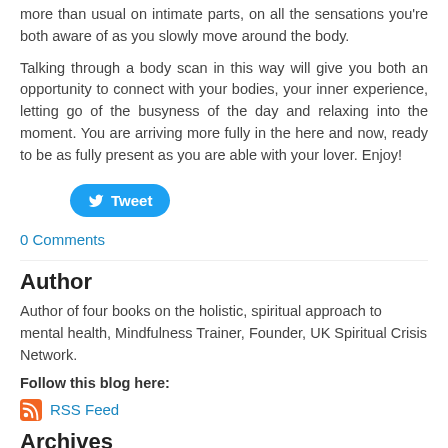more than usual on intimate parts, on all the sensations you're both aware of as you slowly move around the body.
Talking through a body scan in this way will give you both an opportunity to connect with your bodies, your inner experience, letting go of the busyness of the day and relaxing into the moment. You are arriving more fully in the here and now, ready to be as fully present as you are able with your lover. Enjoy!
[Figure (other): Twitter Tweet button]
0 Comments
Author
Author of four books on the holistic, spiritual approach to mental health, Mindfulness Trainer, Founder, UK Spiritual Crisis Network.
Follow this blog here:
RSS Feed
Archives
July 2018